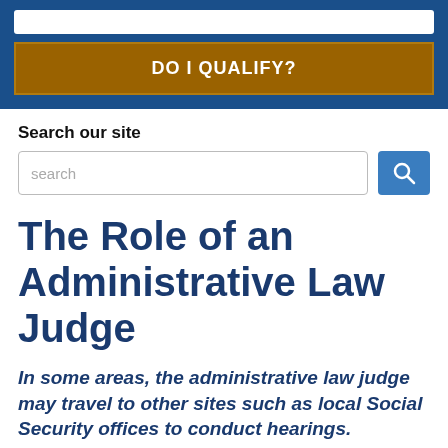[Figure (screenshot): Blue banner with white search input bar at top and a gold/brown 'DO I QUALIFY?' button below]
Search our site
[Figure (screenshot): Search input box with placeholder text 'search' and a blue search button with magnifying glass icon]
The Role of an Administrative Law Judge
In some areas, the administrative law judge may travel to other sites such as local Social Security offices to conduct hearings.
An Administrative Law Judge (ALJ) is an official who